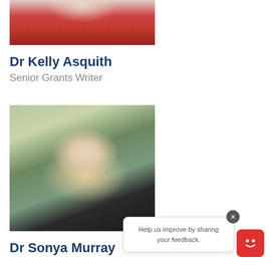[Figure (photo): Cropped bottom portion of a photo of Dr Kelly Asquith, showing neck and red polka-dot top]
Dr Kelly Asquith
Senior Grants Writer
[Figure (photo): Portrait photo of Dr Sonya Murray, a blonde woman smiling, wearing a dark navy top, against a blurred green outdoor background]
Dr Sonya Murray
Help us improve by sharing your feedback.